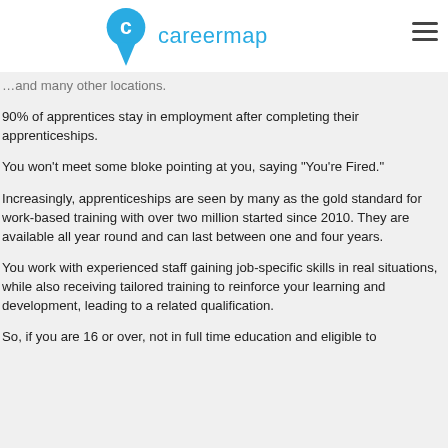careermap
…and many other locations.
90% of apprentices stay in employment after completing their apprenticeships.
You won't meet some bloke pointing at you, saying "You're Fired."
Increasingly, apprenticeships are seen by many as the gold standard for work-based training with over two million started since 2010. They are available all year round and can last between one and four years.
You work with experienced staff gaining job-specific skills in real situations, while also receiving tailored training to reinforce your learning and development, leading to a related qualification.
So, if you are 16 or over, not in full time education and eligible to